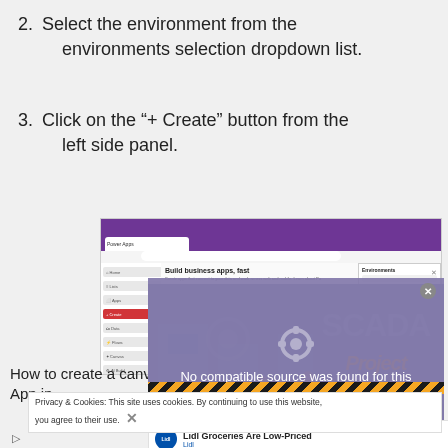2. Select the environment from the environments selection dropdown list.
3. Click on the “+ Create” button from the left side panel.
[Figure (screenshot): Screenshot of Power Apps browser interface showing the Build business apps, fast page, Environments panel on the right with an item highlighted, and left nav with + Create button.]
[Figure (screenshot): Video overlay popup with 'No compatible source was found for this media.' text and a background SCADA Project Creation Course #4 graphic with instrumentation tools imagery.]
How to create a canvas App in
Privacy & Cookies: This site uses cookies. By continuing to use this website, you agree to their use.
[Figure (screenshot): Lidl Groceries Are Low-Priced advertisement with Lidl logo.]